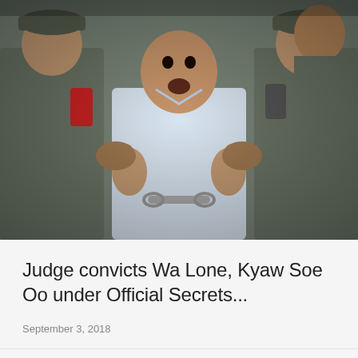[Figure (photo): A man in a white shirt, handcuffed, giving two thumbs up while being escorted by police officers in grey uniforms. The man appears to be shouting or expressing defiance. Multiple officers surround him, and some people are holding mobile phones recording the scene.]
Judge convicts Wa Lone, Kyaw Soe Oo under Official Secrets...
September 3, 2018
LEAVE A REPLY